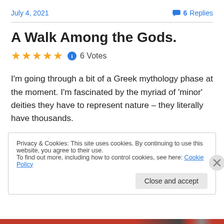July 4, 2021    💬 6 Replies
A Walk Among the Gods.
★★★★★ ℹ 6 Votes
I'm going through a bit of a Greek mythology phase at the moment. I'm fascinated by the myriad of 'minor' deities they have to represent nature – they literally have thousands.
Privacy & Cookies: This site uses cookies. By continuing to use this website, you agree to their use.
To find out more, including how to control cookies, see here: Cookie Policy
Close and accept